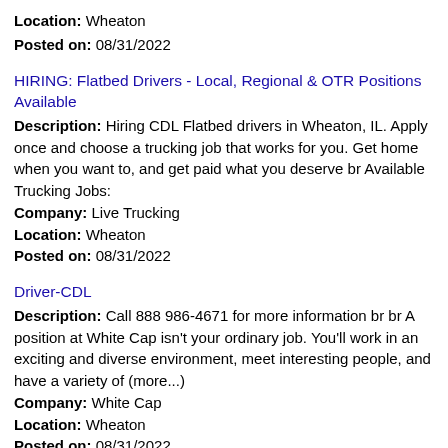Location: Wheaton
Posted on: 08/31/2022
HIRING: Flatbed Drivers - Local, Regional & OTR Positions Available
Description: Hiring CDL Flatbed drivers in Wheaton, IL. Apply once and choose a trucking job that works for you. Get home when you want to, and get paid what you deserve br Available Trucking Jobs:
Company: Live Trucking
Location: Wheaton
Posted on: 08/31/2022
Driver-CDL
Description: Call 888 986-4671 for more information br br A position at White Cap isn't your ordinary job. You'll work in an exciting and diverse environment, meet interesting people, and have a variety of (more...)
Company: White Cap
Location: Wheaton
Posted on: 08/31/2022
Salary in Hoffman Estates, Illinois Area | More details for Hoffman Estates, Illinois Jobs |Salary